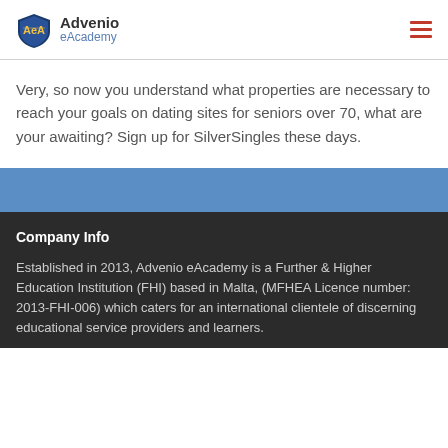Advenio eAcademy
Very, so now you understand what properties are necessary to reach your goals on dating sites for seniors over 70, what are your awaiting? Sign up for SilverSingles these days.
Company Info
Established in 2013, Advenio eAcademy is a Further & Higher Education Institution (FHI) based in Malta, (MFHEA Licence number: 2013-FHI-006) which caters for an international clientele of discerning educational service providers and learners.